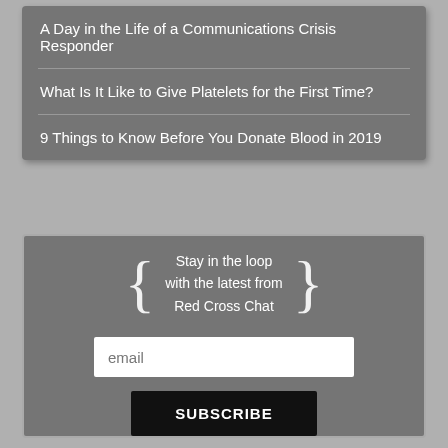A Day in the Life of a Communications Crisis Responder
What Is It Like to Give Platelets for the First Time?
9 Things to Know Before You Donate Blood in 2019
Stay in the loop with the latest from Red Cross Chat
email
SUBSCRIBE